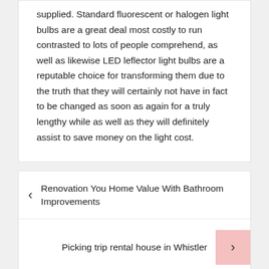supplied. Standard fluorescent or halogen light bulbs are a great deal most costly to run contrasted to lots of people comprehend, as well as likewise LED leflector light bulbs are a reputable choice for transforming them due to the truth that they will certainly not have in fact to be changed as soon as again for a truly lengthy while as well as they will definitely assist to save money on the light cost.
‹ Renovation You Home Value With Bathroom Improvements
Picking trip rental house in Whistler ›
You Will Be Shocked By Your Home's Value